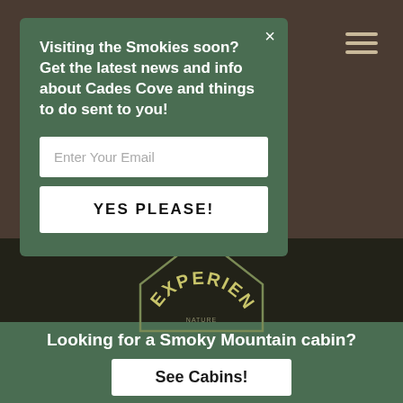Visiting the Smokies soon? Get the latest news and info about Cades Cove and things to do sent to you!
Enter Your Email
YES PLEASE!
[Figure (logo): House/barn shaped logo outline with 'EXPERIENCE' text arched inside, on dark background]
Looking for a Smoky Mountain cabin?
See Cabins!